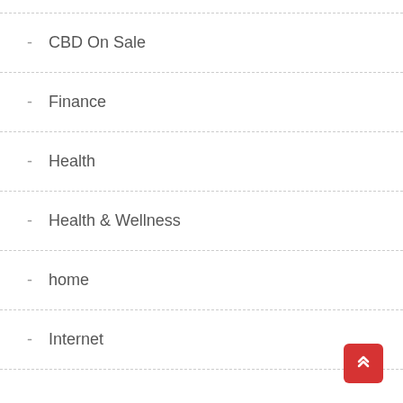- CBD On Sale
- Finance
- Health
- Health & Wellness
- home
- Internet